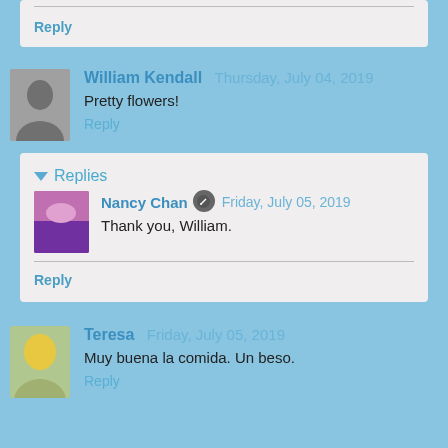Reply
William Kendall  Thursday, July 04, 2019
Pretty flowers!
Reply
Replies
Nancy Chan  Friday, July 05, 2019
Thank you, William.
Reply
Teresa  Friday, July 05, 2019
Muy buena la comida. Un beso.
Reply